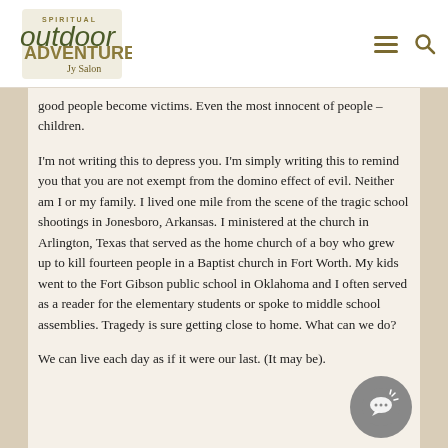Spiritual Outdoor Adventures
good people become victims. Even the most innocent of people – children.
I'm not writing this to depress you. I'm simply writing this to remind you that you are not exempt from the domino effect of evil. Neither am I or my family. I lived one mile from the scene of the tragic school shootings in Jonesboro, Arkansas. I ministered at the church in Arlington, Texas that served as the home church of a boy who grew up to kill fourteen people in a Baptist church in Fort Worth. My kids went to the Fort Gibson public school in Oklahoma and I often served as a reader for the elementary students or spoke to middle school assemblies. Tragedy is sure getting close to home. What can we do?
We can live each day as if it were our last. (It may be).